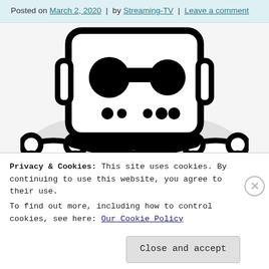Posted on March 2, 2020 | by Streaming-TV | Leave a comment
[Figure (illustration): Black and white skull-and-crossbones style illustration featuring a Roku-like streaming device box as the skull face (with circle buttons, a rectangular button, and small dot ports), with two crossed bones beneath it, on a light gray background.]
Privacy & Cookies: This site uses cookies. By continuing to use this website, you agree to their use.
To find out more, including how to control cookies, see here: Our Cookie Policy